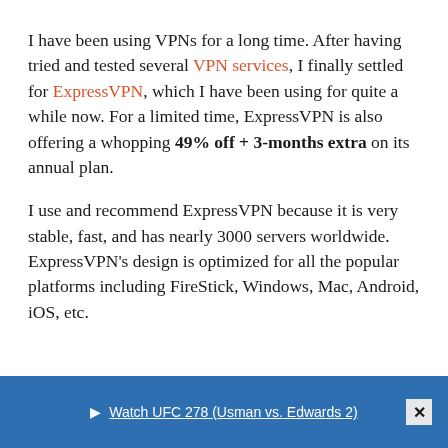I have been using VPNs for a long time. After having tried and tested several VPN services, I finally settled for ExpressVPN, which I have been using for quite a while now. For a limited time, ExpressVPN is also offering a whopping 49% off + 3-months extra on its annual plan.
I use and recommend ExpressVPN because it is very stable, fast, and has nearly 3000 servers worldwide. ExpressVPN's design is optimized for all the popular platforms including FireStick, Windows, Mac, Android, iOS, etc.
▶ Watch UFC 278 (Usman vs. Edwards 2)